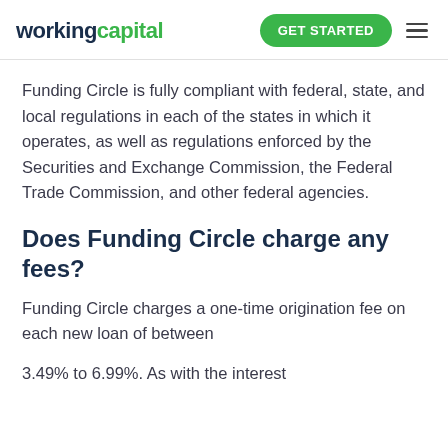workingcapital | GET STARTED
Funding Circle is fully compliant with federal, state, and local regulations in each of the states in which it operates, as well as regulations enforced by the Securities and Exchange Commission, the Federal Trade Commission, and other federal agencies.
Does Funding Circle charge any fees?
Funding Circle charges a one-time origination fee on each new loan of between
3.49% to 6.99%. As with the interest